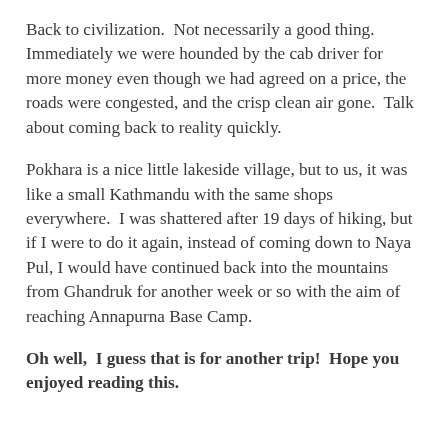Back to civilization.  Not necessarily a good thing.  Immediately we were hounded by the cab driver for more money even though we had agreed on a price, the roads were congested, and the crisp clean air gone.  Talk about coming back to reality quickly.
Pokhara is a nice little lakeside village, but to us, it was like a small Kathmandu with the same shops everywhere.  I was shattered after 19 days of hiking, but if I were to do it again, instead of coming down to Naya Pul, I would have continued back into the mountains from Ghandruk for another week or so with the aim of reaching Annapurna Base Camp.
Oh well,  I guess that is for another trip!  Hope you enjoyed reading this.